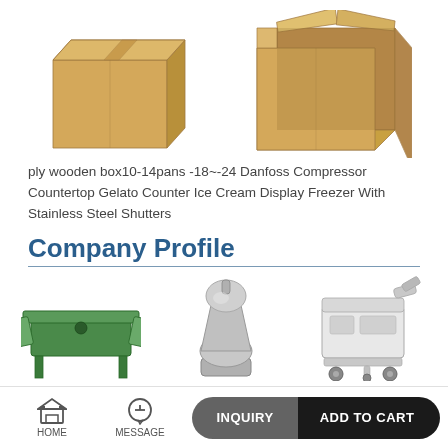[Figure (photo): Two cardboard boxes side by side: one closed (left) and one open (right)]
ply wooden box10-14pans  -18~-24 Danfoss Compressor Countertop Gelato Counter Ice Cream Display Freezer  With Stainless Steel Shutters
Company Profile
[Figure (photo): Three industrial food processing machines side by side: a green table-top machine (left), a stainless steel mixing machine (center), and a white ice cream/food processing machine on wheels (right)]
HOME   MESSAGE   INQUIRY   ADD TO CART